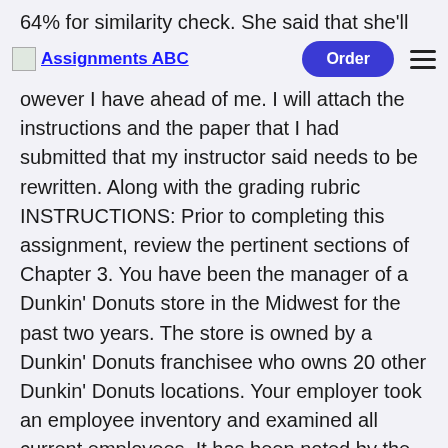64% for similarity check. She said that she'll let me
Assignments ABC  [Order button]  [Hamburger menu]
however I have ahead of me. I will attach the instructions and the paper that I had submitted that my instructor said needs to be rewritten. Along with the grading rubric INSTRUCTIONS: Prior to completing this assignment, review the pertinent sections of Chapter 3. You have been the manager of a Dunkin' Donuts store in the Midwest for the past two years. The store is owned by a Dunkin' Donuts franchisee who owns 20 other Dunkin' Donuts locations. Your employer took an employee inventory and examined all current employees. It has been noted by the owner that you have a highly successful track record. You have been recognized for doing an exceptional job staffing, leading, training, coaching, and managing